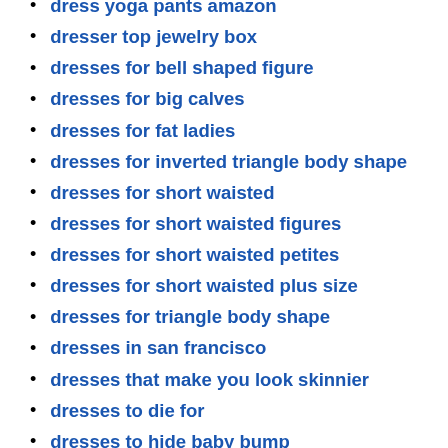dress yoga pants amazon
dresser top jewelry box
dresses for bell shaped figure
dresses for big calves
dresses for fat ladies
dresses for inverted triangle body shape
dresses for short waisted
dresses for short waisted figures
dresses for short waisted petites
dresses for short waisted plus size
dresses for triangle body shape
dresses in san francisco
dresses that make you look skinnier
dresses to die for
dresses to hide baby bump